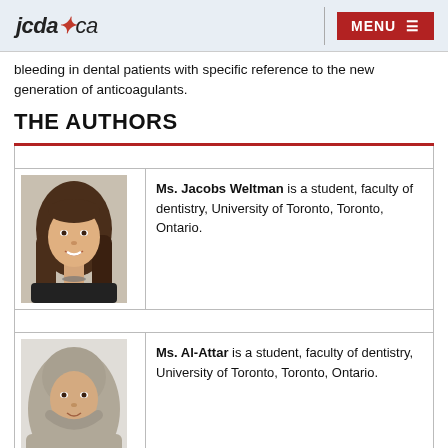jcda.ca  MENU
bleeding in dental patients with specific reference to the new generation of anticoagulants.
THE AUTHORS
| Photo | Bio |
| --- | --- |
| [photo] | Ms. Jacobs Weltman is a student, faculty of dentistry, University of Toronto, Toronto, Ontario. |
| [photo] | Ms. Al-Attar is a student, faculty of dentistry, University of Toronto, Toronto, Ontario. |